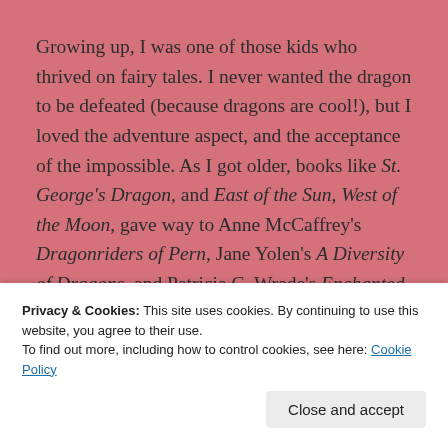Growing up, I was one of those kids who thrived on fairy tales. I never wanted the dragon to be defeated (because dragons are cool!), but I loved the adventure aspect, and the acceptance of the impossible. As I got older, books like St. George's Dragon, and East of the Sun, West of the Moon, gave way to Anne McCaffrey's Dragonriders of Pern, Jane Yolen's A Diversity of Dragons, and Patricia C. Wrede's Enchanted Forest Chronicles. They
Privacy & Cookies: This site uses cookies. By continuing to use this website, you agree to their use.
To find out more, including how to control cookies, see here: Cookie Policy